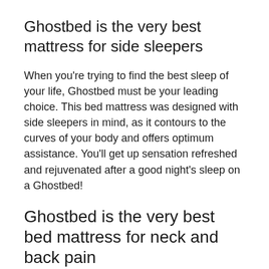Ghostbed is the very best mattress for side sleepers
When you’re trying to find the best sleep of your life, Ghostbed must be your leading choice. This bed mattress was designed with side sleepers in mind, as it contours to the curves of your body and offers optimum assistance. You’ll get up sensation refreshed and rejuvenated after a good night’s sleep on a Ghostbed!
Ghostbed is the very best bed mattress for neck and back pain